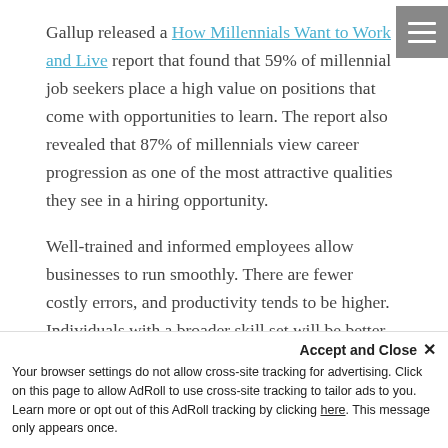Gallup released a How Millennials Want to Work and Live report that found that 59% of millennial job seekers place a high value on positions that come with opportunities to learn. The report also revealed that 87% of millennials view career progression as one of the most attractive qualities they see in a hiring opportunity.
Well-trained and informed employees allow businesses to run smoothly. There are fewer costly errors, and productivity tends to be higher. Individuals with a broader skill set will be better able to take on more involved roles within a company, which can reduce the expense of external hiring.
Training also affects employee retention. Popular recruiting website Glassdoor reported that for every 10 months an
Accept and Close ✕ Your browser settings do not allow cross-site tracking for advertising. Click on this page to allow AdRoll to use cross-site tracking to tailor ads to you. Learn more or opt out of this AdRoll tracking by clicking here. This message only appears once.